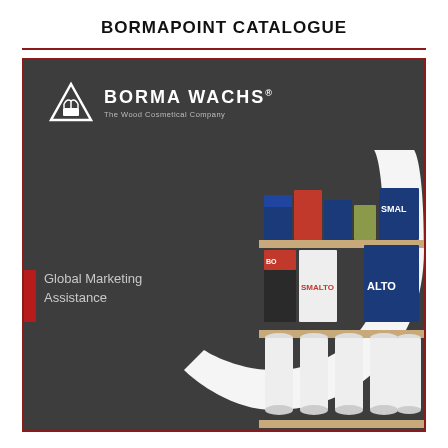BORMAPOINT CATALOGUE
[Figure (illustration): Borma Wachs catalogue cover page showing the brand logo (triangle icon with BORMA WACHS and tagline 'The Wood Cosmetical Company') on a dark grey background, with a white U-shaped arch graphic and shelves of paint/wood product cans on the right side. Text reads 'Global Marketing Assistance' with a red accent bar on the left.]